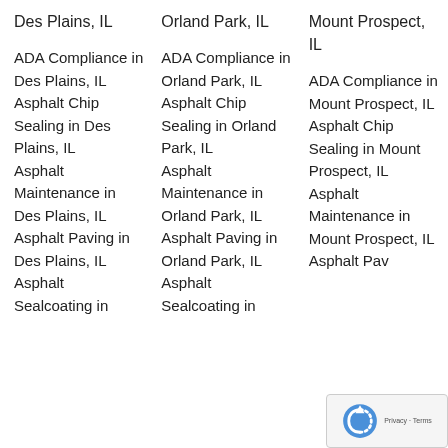Des Plains, IL
Orland Park, IL
Mount Prospect, IL
ADA Compliance in Des Plains, IL
ADA Compliance in Orland Park, IL
ADA Compliance in Mount Prospect, IL
Asphalt Chip Sealing in Des Plains, IL
Asphalt Chip Sealing in Orland Park, IL
Asphalt Chip Sealing in Mount Prospect, IL
Asphalt Maintenance in Des Plains, IL
Asphalt Maintenance in Orland Park, IL
Asphalt Maintenance in Mount Prospect, IL
Asphalt Paving in Des Plains, IL
Asphalt Paving in Orland Park, IL
Asphalt Paving in Mount Prospect, IL
Asphalt Sealcoating in Des Plains, IL
Asphalt Sealcoating in Orland Park, IL
Asphalt Sealcoating in Mount Prospect, IL